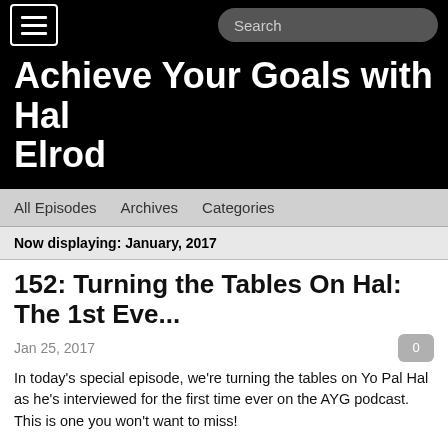Achieve Your Goals with Hal Elrod
All Episodes   Archives   Categories
Now displaying: January, 2017
152: Turning the Tables On Hal: The 1st Eve...
Jan 25, 2017
In today's special episode, we're turning the tables on Yo Pal Hal as he's interviewed for the first time ever on the AYG podcast. This is one you won't want to miss!
For those not in the know, Hal's been battling Cancer for the past several months and for the first time since his diagnosis, he opens up and shares his journey in a candid conversation with his best friend and business partner, Jon Berghoff.